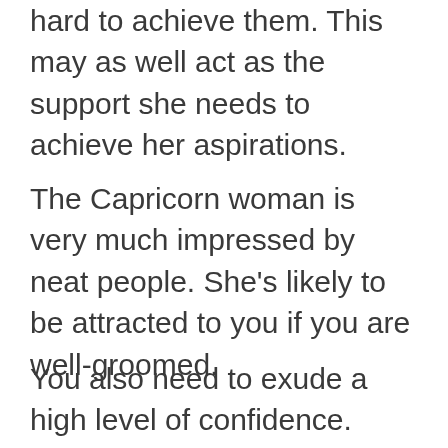hard to achieve them. This may as well act as the support she needs to achieve her aspirations.
The Capricorn woman is very much impressed by neat people. She’s likely to be attracted to you if you are well-groomed.
You also need to exude a high level of confidence. Don’t be cowed by the challenges on your way. Rather, show this native that you are